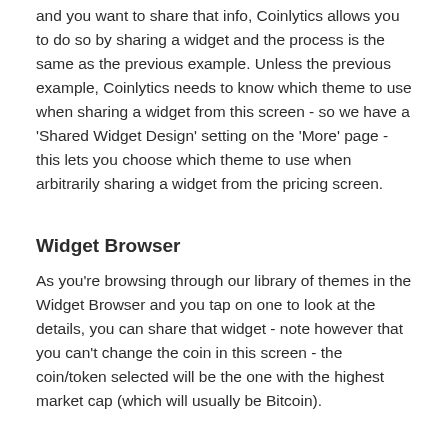and you want to share that info, Coinlytics allows you to do so by sharing a widget and the process is the same as the previous example. Unless the previous example, Coinlytics needs to know which theme to use when sharing a widget from this screen - so we have a 'Shared Widget Design' setting on the 'More' page - this lets you choose which theme to use when arbitrarily sharing a widget from the pricing screen.
Widget Browser
As you're browsing through our library of themes in the Widget Browser and you tap on one to look at the details, you can share that widget - note however that you can't change the coin in this screen - the coin/token selected will be the one with the highest market cap (which will usually be Bitcoin).